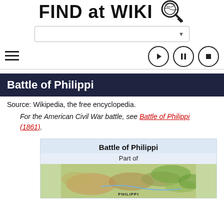FIND at WIKI
[Figure (screenshot): Search dropdown bar with arrow]
[Figure (screenshot): Hamburger menu icon and media control buttons (play, pause, stop)]
Battle of Philippi
Source: Wikipedia, the free encyclopedia.
For the American Civil War battle, see Battle of Philippi (1861).
| Battle of Philippi |
| --- |
| Part of |
| [map image] |